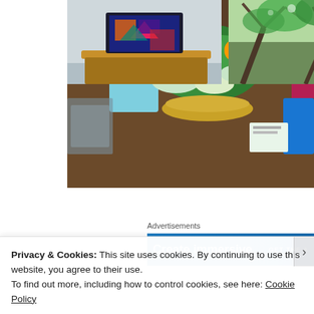[Figure (photo): Photo of a table with colorful decorative items including a blue tissue box, green plants, Easter eggs, and books on a wooden surface]
Advertisements
[Figure (screenshot): Blue advertisement banner reading 'Create immersive' with 'GET THE A' visible on the right]
[Figure (photo): Photo of a wooden cabinet with colorful stained-glass style artwork on top]
[Figure (photo): Photo of trees with branches and foliage viewed from below]
Privacy & Cookies: This site uses cookies. By continuing to use this website, you agree to their use.
To find out more, including how to control cookies, see here: Cookie Policy
Close and accept